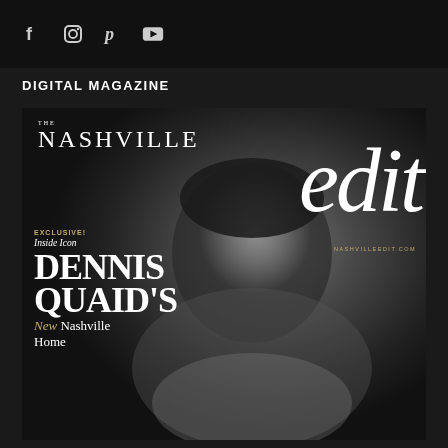Social icons: Facebook, Instagram, Pinterest, YouTube
DIGITAL MAGAZINE
[Figure (photo): Magazine cover of The Nashville Edit featuring Dennis Quaid in black and white portrait photography. Cover text reads: THE NASHVILLE edit, NASHVILLEEDIT.COM, EXCLUSIVE! Inside Icon DENNIS QUAID'S New Nashville Home]